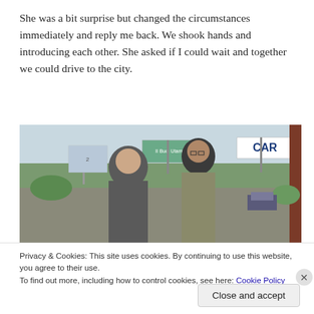She was a bit surprise but changed the circumstances immediately and reply me back. We shook hands and introducing each other. She asked if I could wait and together we could drive to the city.
[Figure (photo): Two women standing together outdoors near a road with billboards including one that says 'CAR'. Both appear to be smiling at the camera.]
Privacy & Cookies: This site uses cookies. By continuing to use this website, you agree to their use.
To find out more, including how to control cookies, see here: Cookie Policy